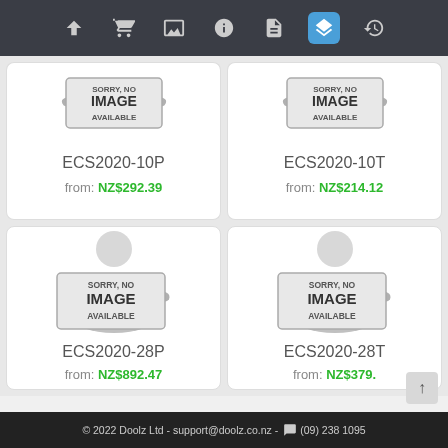[Figure (screenshot): Navigation toolbar with icons: up arrow, shopping cart, image, info, document, layers (active/highlighted blue), history]
[Figure (photo): No image available placeholder - product ECS2020-10P]
ECS2020-10P
from: NZ$292.39
[Figure (photo): No image available placeholder - product ECS2020-10T]
ECS2020-10T
from: NZ$214.12
[Figure (photo): No image available placeholder - product ECS2020-28P]
ECS2020-28P
from: NZ$892.47
[Figure (photo): No image available placeholder - product ECS2020-28T]
ECS2020-28T
from: NZ$379.
© 2022 Doolz Ltd - support@doolz.co.nz - (09) 238 1095